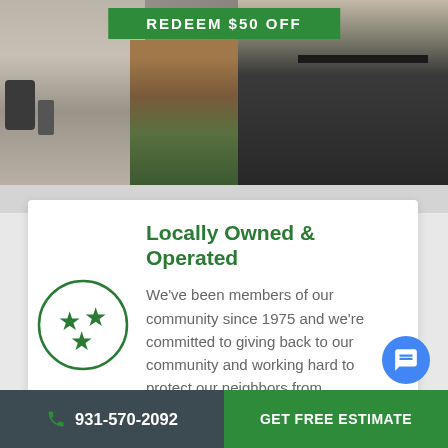[Figure (photo): Two people standing outdoors near a brick building with plants, lower bodies visible]
REDEEM $50 OFF
Locally Owned & Operated
We've been members of our community since 1975 and we're committed to giving back to our community and working hard to protect our neighbors from
[Figure (logo): Circle with three green stars arranged in triangular pattern - Tennessee state symbol]
931-570-2092   GET FREE ESTIMATE